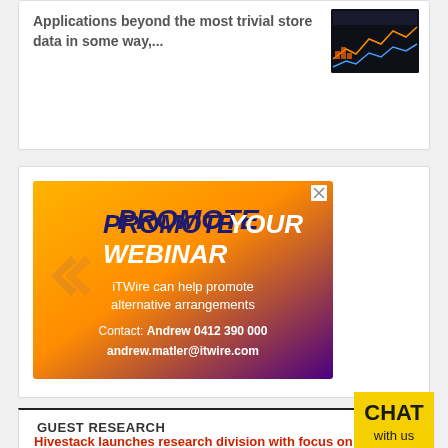Applications beyond the most trivial store data in some way,...
[Figure (screenshot): Screenshot of a data visualization dashboard with dark background showing charts/graphs in orange and blue]
[Figure (infographic): Advertisement banner with gradient background (yellow to orange to purple). Text: PROMOTE YOUR WEBINAR - iTWire can help promote alternative arrangements - Contact: Andrew 0412 390 000 andrew.matler@itwire.com]
GUEST RESEARCH
[Figure (illustration): Chat with us badge - yellow speech bubble with text CHAT with us]
Hivestack launches research division with focus on